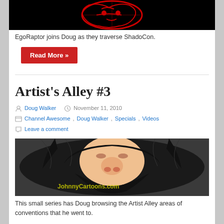[Figure (illustration): Dark/black background with red illustrated character art for ShadoCon]
EgoRaptor joins Doug as they traverse ShadoCon.
Read More »
Artist's Alley #3
Doug Walker  November 11, 2010
Channel Awesome, Doug Walker, Specials, Videos
Leave a comment
[Figure (illustration): Cartoon illustration of a man with a large black beard and long dark hair, with JohnnyCartoons.com watermark]
This small series has Doug browsing the Artist Alley areas of conventions that he went to.